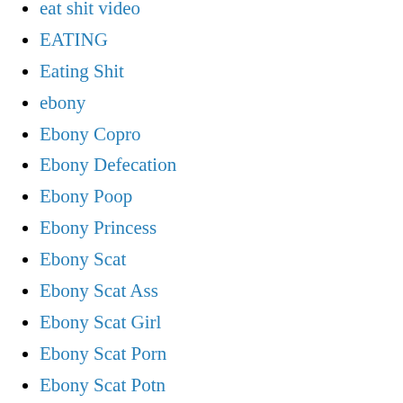eat shit video
EATING
Eating Shit
ebony
Ebony Copro
Ebony Defecation
Ebony Poop
Ebony Princess
Ebony Scat
Ebony Scat Ass
Ebony Scat Girl
Ebony Scat Porn
Ebony Scat Potn
Ebony Scat video
Ebony Shitting
Ebony_Princess